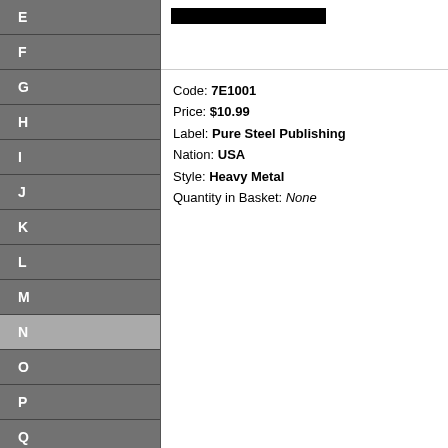E
F
G
H
I
J
K
L
M
N
O
P
Q
R
S
T
U
V
V/A
[Figure (other): Black bar / product image placeholder at top of content area]
Code: 7E1001
Price: $10.99
Label: Pure Steel Publishing
Nation: USA
Style: Heavy Metal
Quantity in Basket: None